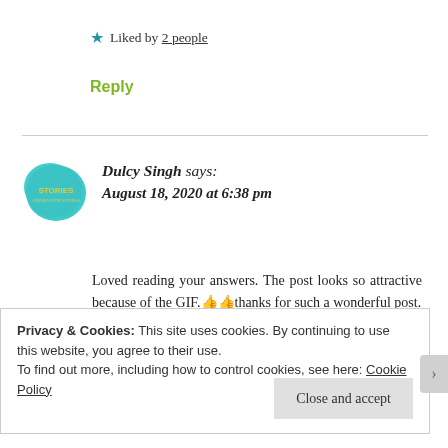★ Liked by 2 people
Reply
Dulcy Singh says: August 18, 2020 at 6:38 pm
Loved reading your answers. The post looks so attractive because of the GIF.👍👍thanks for such a wonderful post.
Privacy & Cookies: This site uses cookies. By continuing to use this website, you agree to their use. To find out more, including how to control cookies, see here: Cookie Policy
Close and accept